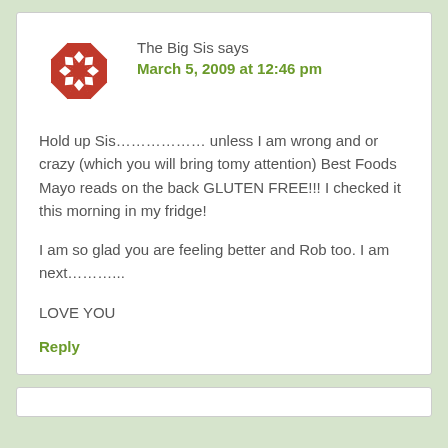[Figure (illustration): Red geometric snowflake/kaleidoscope avatar icon made of triangular shapes]
The Big Sis says
March 5, 2009 at 12:46 pm
Hold up Sis……………… unless I am wrong and or crazy (which you will bring tomy attention) Best Foods Mayo reads on the back GLUTEN FREE!!! I checked it this morning in my fridge!
I am so glad you are feeling better and Rob too. I am next………..
LOVE YOU
Reply